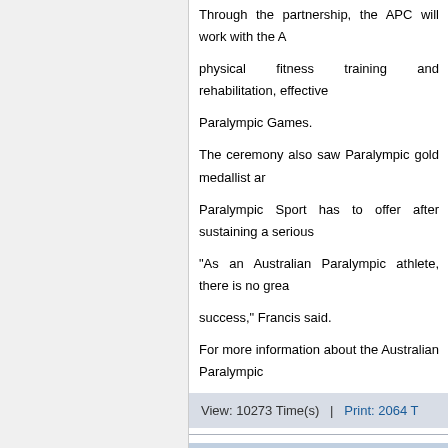Through the partnership, the APC will work with the A physical fitness training and rehabilitation, effective Paralympic Games.
The ceremony also saw Paralympic gold medallist am Paralympic Sport has to offer after sustaining a serious
"As an Australian Paralympic athlete, there is no grea success," Francis said.
For more information about the Australian Paralympic
View: 10273 Time(s)  |  Print: 2064 T
International Wheelchair Rugby
International Wheelchair Rugby
In a hard-hitting final against Canada, host country Au Four Nations tournament this past weekend.